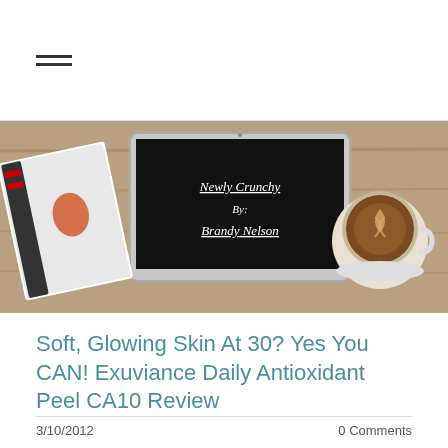☰ (hamburger menu icon)
[Figure (photo): Banner photo showing a laptop with 'Newly Crunchy By: Brandy Nelson' on its screen, a coffee cup with latte art on the right, and a magazine/book on the left, all on a wooden surface.]
Soft, Glowing Skin At 30? Yes You CAN! Exuviance Daily Antioxidant Peel CA10 Review
3/10/2012
0 Comments